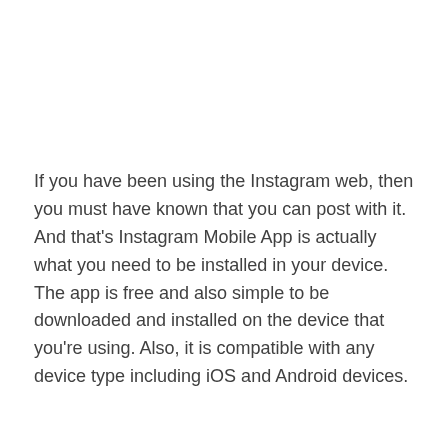If you have been using the Instagram web, then you must have known that you can post with it. And that's Instagram Mobile App is actually what you need to be installed in your device. The app is free and also simple to be downloaded and installed on the device that you're using. Also, it is compatible with any device type including iOS and Android devices.